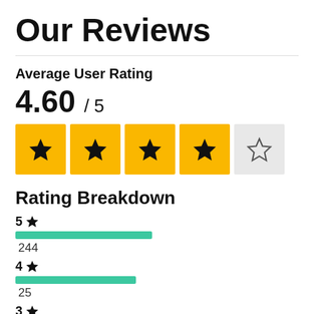Our Reviews
Average User Rating
4.60 / 5
[Figure (infographic): 5-star rating display: 4 filled gold star boxes and 1 empty grey star box]
Rating Breakdown
5 ★
244
4 ★
25
3 ★